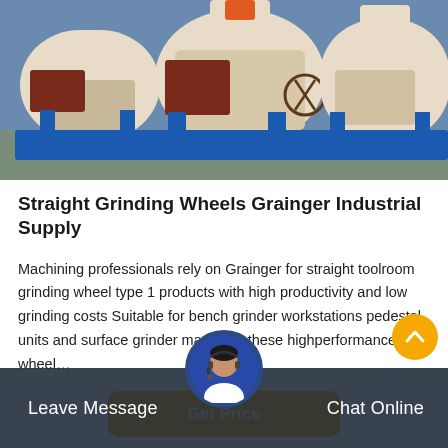[Figure (photo): Industrial grinding machines with white drum bodies mounted on blue metal frames, shown in an outdoor/warehouse setting.]
Straight Grinding Wheels Grainger Industrial Supply
Machining professionals rely on Grainger for straight toolroom grinding wheel type 1 products with high productivity and low grinding costs Suitable for bench grinder workstations pedestal units and surface grinder machines these highperformance wheel…
Get Price
Leave Message  Chat Online